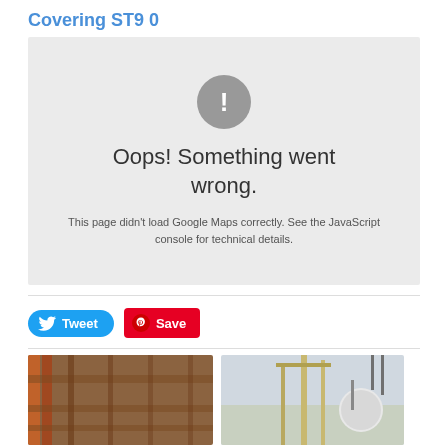Covering ST9 0
[Figure (screenshot): Google Maps error box with grey background showing exclamation mark icon and text: Oops! Something went wrong. This page didn't load Google Maps correctly. See the JavaScript console for technical details.]
[Figure (other): Twitter Tweet button (blue pill shape) and Pinterest Save button (red rounded rectangle)]
[Figure (photo): Two construction site photos side by side at the bottom of the page]